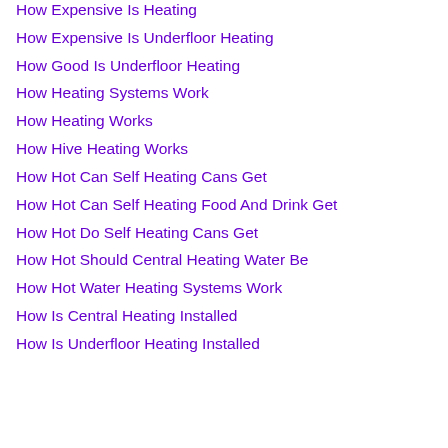How Expensive Is Heating
How Expensive Is Underfloor Heating
How Good Is Underfloor Heating
How Heating Systems Work
How Heating Works
How Hive Heating Works
How Hot Can Self Heating Cans Get
How Hot Can Self Heating Food And Drink Get
How Hot Do Self Heating Cans Get
How Hot Should Central Heating Water Be
How Hot Water Heating Systems Work
How Is Central Heating Installed
How Is Underfloor Heating Installed